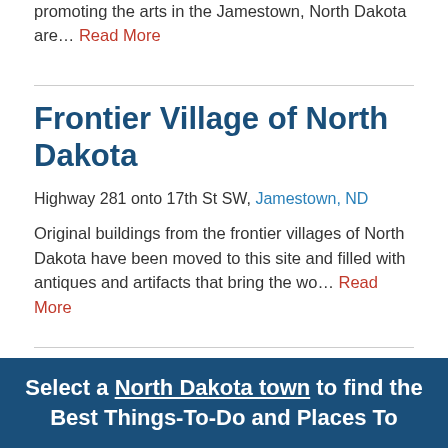promoting the arts in the Jamestown, North Dakota are… Read More
Frontier Village of North Dakota
Highway 281 onto 17th St SW, Jamestown, ND
Original buildings from the frontier villages of North Dakota have been moved to this site and filled with antiques and artifacts that bring the wo… Read More
Show More
Select a North Dakota town to find the Best Things-To-Do and Places To